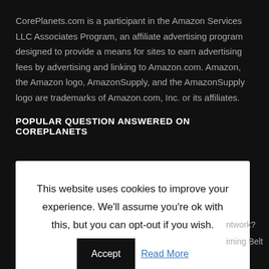CorePlanets.com is a participant in the Amazon Services LLC Associates Program, an affiliate advertising program designed to provide a means for sites to earn advertising fees by advertising and linking to Amazon.com. Amazon, the Amazon logo, AmazonSupply, and the AmazonSupply logo are trademarks of Amazon.com, Inc. or its affiliates.
POPULAR QUESTION ANSWERED ON COREPLANETS
This website uses cookies to improve your experience. We'll assume you're ok with this, but you can opt-out if you wish. Accept Read More
ntwork?
iming Belt
REACH US